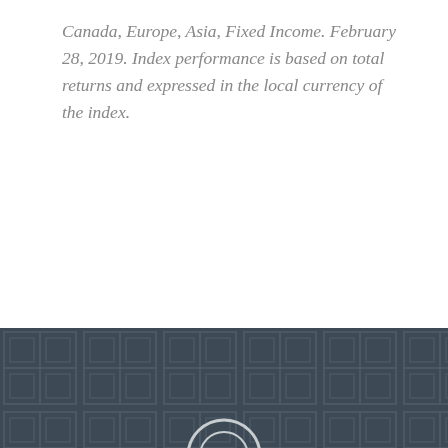Canada, Europe, Asia, Fixed Income. February 28, 2019. Index performance is based on total returns and expressed in the local currency of the index.
Page 1 of 2